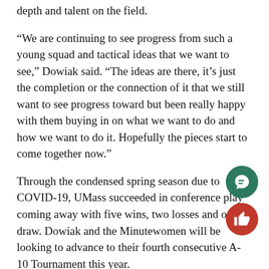depth and talent on the field.
“We are continuing to see progress from such a young squad and tactical ideas that we want to see,” Dowiak said. “The ideas are there, it’s just the completion or the connection of it that we still want to see progress toward but been really happy with them buying in on what we want to do and how we want to do it. Hopefully the pieces start to come together now.”
Through the condensed spring season due to COVID-19, UMass succeeded in conference play coming away with five wins, two losses and one draw. Dowiak and the Minutewomen will be looking to advance to their fourth consecutive A-10 Tournament this year.
“Conference games are always really tough,” Dowiak said. “Especially the first few because everybody ha chance. That’s what we just talked about, is the